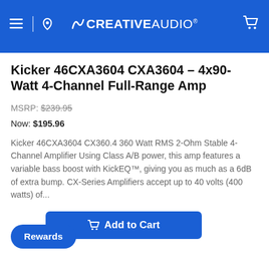CREATIVE AUDIO
Kicker 46CXA3604 CXA3604 - 4x90-Watt 4-Channel Full-Range Amp
MSRP: $239.95
Now: $195.96
Kicker 46CXA3604 CX360.4 360 Watt RMS 2-Ohm Stable 4-Channel Amplifier Using Class A/B power, this amp features a variable bass boost with KickEQ™, giving you as much as a 6dB of extra bump. CX-Series Amplifiers accept up to 40 volts (400 watts) of...
Add to Cart
Rewards